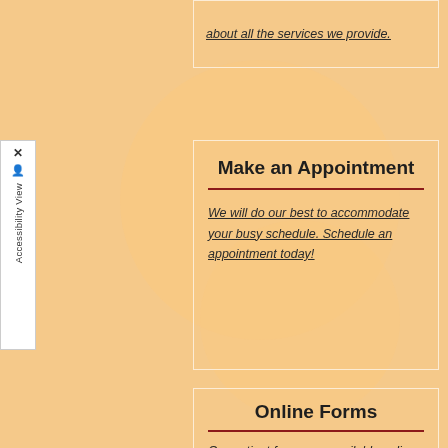about all the services we provide.
Make an Appointment
We will do our best to accommodate your busy schedule. Schedule an appointment today!
Online Forms
Our patient forms are available online so they can be completed in the convenience of your own